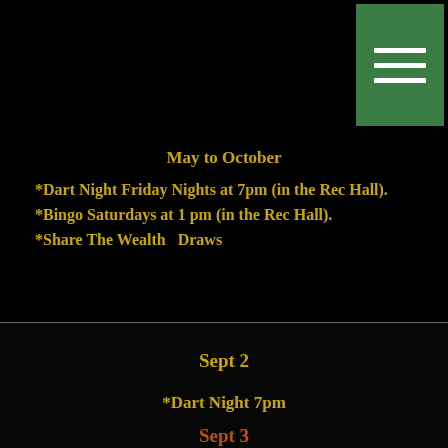[Figure (other): Green hamburger menu button with three white horizontal lines]
May to October
*Dart Night Friday Nights at 7pm (in the Rec Hall).
*Bingo Saturdays at 1 pm (in the Rec Hall).
*Share The Wealth  Draws
Sept 2
*Dart Night 7pm
Sept 3